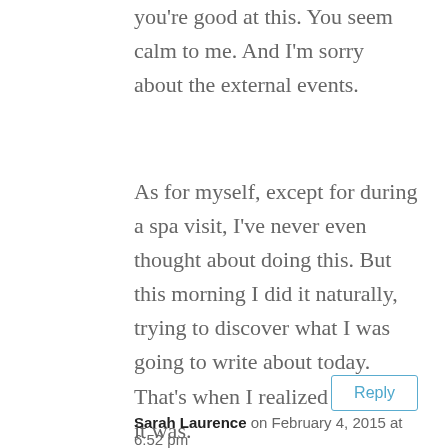you're good at this. You seem calm to me. And I'm sorry about the external events.
As for myself, except for during a spa visit, I've never even thought about doing this. But this morning I did it naturally, trying to discover what I was going to write about today. That's when I realized how rare it was.
Reply
Sarah Laurence on February 4, 2015 at 6:52 pm